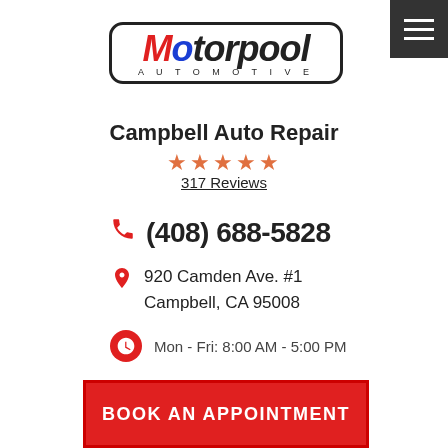[Figure (logo): Motorpool Automotive logo with red and blue M, italic bold text, rounded rectangle border, AUTOMOTIVE subtitle in spaced caps]
Campbell Auto Repair
★★★★★ (star rating icons in orange)
317 Reviews
(408) 688-5828
920 Camden Ave. #1
Campbell, CA 95008
Mon - Fri: 8:00 AM - 5:00 PM
BOOK AN APPOINTMENT